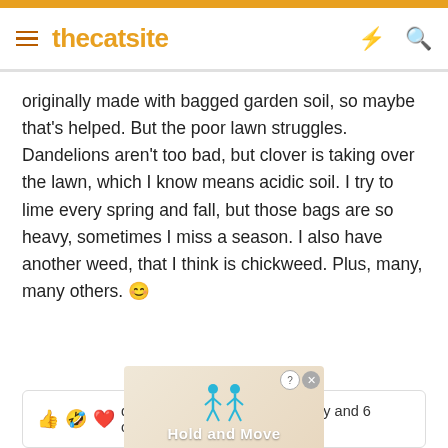thecatsite
originally made with bagged garden soil, so maybe that's helped. But the poor lawn struggles. Dandelions aren't too bad, but clover is taking over the lawn, which I know means acidic soil. I try to lime every spring and fall, but those bags are so heavy, sometimes I miss a season. I also have another weed, that I think is chickweed. Plus, many, many others. 😊
👍🤣❤️ dustydiamond1, Jcatbird, Jewely and 6 others
[Figure (screenshot): Advertisement banner at the bottom showing animated figures and text 'Hold and Move']